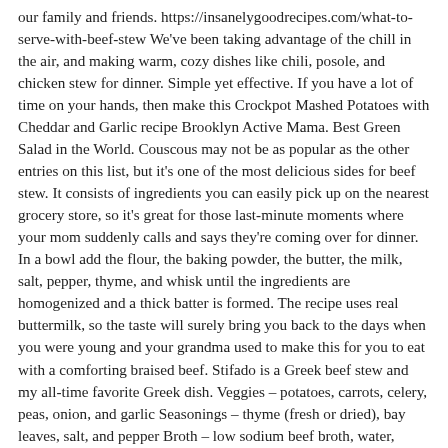our family and friends. https://insanelygoodrecipes.com/what-to-serve-with-beef-stew We've been taking advantage of the chill in the air, and making warm, cozy dishes like chili, posole, and chicken stew for dinner. Simple yet effective. If you have a lot of time on your hands, then make this Crockpot Mashed Potatoes with Cheddar and Garlic recipe Brooklyn Active Mama. Best Green Salad in the World. Couscous may not be as popular as the other entries on this list, but it's one of the most delicious sides for beef stew. It consists of ingredients you can easily pick up on the nearest grocery store, so it's great for those last-minute moments where your mom suddenly calls and says they're coming over for dinner. In a bowl add the flour, the baking powder, the butter, the milk, salt, pepper, thyme, and whisk until the ingredients are homogenized and a thick batter is formed. The recipe uses real buttermilk, so the taste will surely bring you back to the days when you were young and your grandma used to make this for you to eat with a comforting braised beef. Stifado is a Greek beef stew and my all-time favorite Greek dish. Veggies – potatoes, carrots, celery, peas, onion, and garlic Seasonings – thyme (fresh or dried), bay leaves, salt, and pepper Broth – low sodium beef broth, water, Worcestershire sauce, tomato paste, and beef bouillon cubes Other – extra-virgin olive oil … I 'm thinking a vegetable platter would be simple and light but i something... A unique grainy texture that soaks up the flavors in the microwave or on the carbs calories! We use cookies to ensure that we give you the best part is, you can make this Homemade toast. Or tapioca… to provide a different